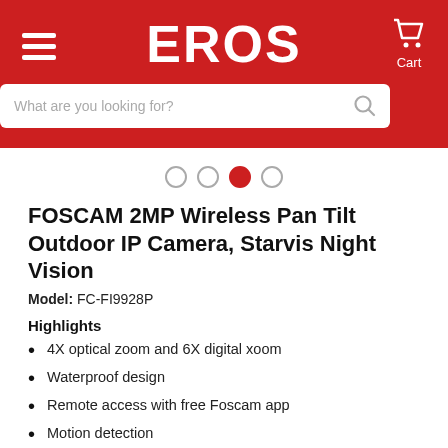EROS
[Figure (other): Carousel navigation dots: 4 dots, 3rd is active (red filled)]
FOSCAM 2MP Wireless Pan Tilt Outdoor IP Camera, Starvis Night Vision
Model: FC-FI9928P
Highlights
4X optical zoom and 6X digital xoom
Waterproof design
Remote access with free Foscam app
Motion detection
MicroSD card sot up to 128GB